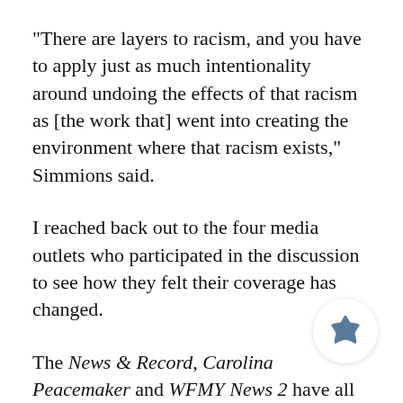"There are layers to racism, and you have to apply just as much intentionality around undoing the effects of that racism as [the work that] went into creating the environment where that racism exists," Simmions said.
I reached back out to the four media outlets who participated in the discussion to see how they felt their coverage has changed.
The News & Record, Carolina Peacemaker and WFMY News 2 have all shown interest in the student-led approach of covering NC A&T b... at all or occasionally using the university as a locator—especially in relation to crime stories.